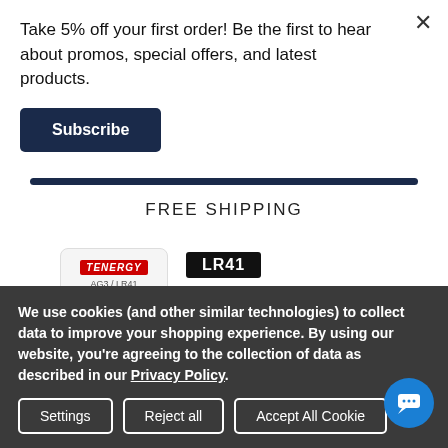Take 5% off your first order! Be the first to hear about promos, special offers, and latest products.
Subscribe
FREE SHIPPING
[Figure (photo): Tenergy LR41 battery pack product image showing blister packaging with two coin cells visible, alongside LR41 label showing count of 10]
We use cookies (and other similar technologies) to collect data to improve your shopping experience. By using our website, you're agreeing to the collection of data as described in our Privacy Policy.
Settings
Reject all
Accept All Cookies